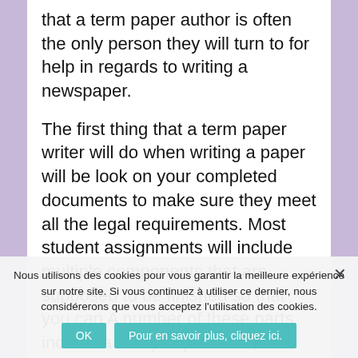that a term paper author is often the only person they will turn to for help in regards to writing a newspaper.
The first thing that a term paper writer will do when writing a paper will be look on your completed documents to make sure they meet all the legal requirements. Most student assignments will include multiple components that are supposed to be finished so that you can A number of these parts include a study department, an evaluation component, a last evaluation part, etc. Each one of these parts must be done in O nous considérerons que vous acceptez l'utilisation des cookies. college or university when you are studying.
Nous utilisons des cookies pour vous garantir la meilleure expérience sur notre site. Si vous continuez à utiliser ce dernier, nous considérerons que vous acceptez l'utilisation des cookies.